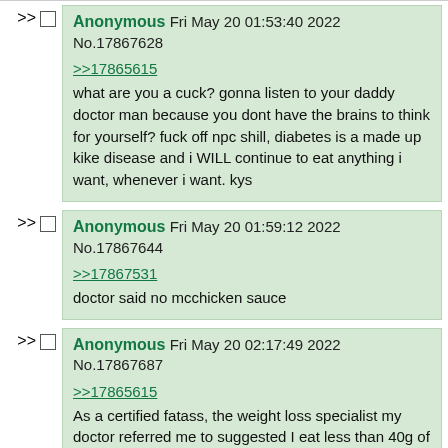Anonymous Fri May 20 01:53:40 2022 No.17867628
>>17865615
what are you a cuck? gonna listen to your daddy doctor man because you dont have the brains to think for yourself? fuck off npc shill, diabetes is a made up kike disease and i WILL continue to eat anything i want, whenever i want. kys
Anonymous Fri May 20 01:59:12 2022 No.17867644
>>17867531
doctor said no mcchicken sauce
Anonymous Fri May 20 02:17:49 2022 No.17867687
>>17865615
As a certified fatass, the weight loss specialist my doctor referred me to suggested I eat less than 40g of carbs a day. Focus on meat and fibrous vegetables. No more rice, bread, potatoes, corn, or pasta. If you want something sweet, go for one of those super low carb protein shakes. If you mix them with chia seeds you can even make a low